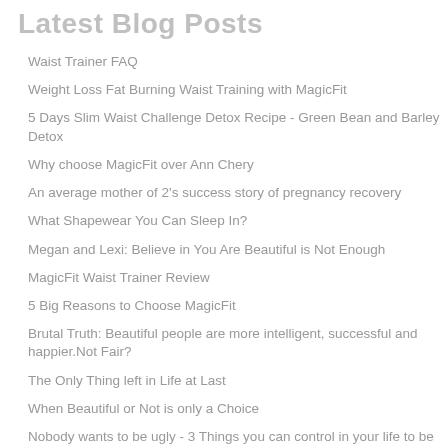Latest Blog Posts
Waist Trainer FAQ
Weight Loss Fat Burning Waist Training with MagicFit
5 Days Slim Waist Challenge Detox Recipe - Green Bean and Barley Detox
Why choose MagicFit over Ann Chery
An average mother of 2's success story of pregnancy recovery
What Shapewear You Can Sleep In?
Megan and Lexi: Believe in You Are Beautiful is Not Enough
MagicFit Waist Trainer Review
5 Big Reasons to Choose MagicFit
Brutal Truth: Beautiful people are more intelligent, successful and happier.Not Fair?
The Only Thing left in Life at Last
When Beautiful or Not is only a Choice
Nobody wants to be ugly - 3 Things you can control in your life to be Beautiful
5 ways to prove you can have a perfect body too